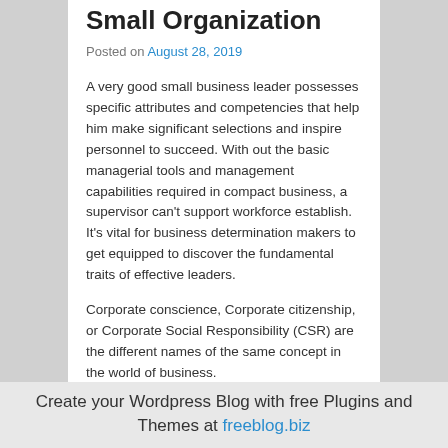Small Organization
Posted on August 28, 2019
A very good small business leader possesses specific attributes and competencies that help him make significant selections and inspire personnel to succeed. With out the basic managerial tools and management capabilities required in compact business, a supervisor can't support workforce establish. It's vital for business determination makers to get equipped to discover the fundamental traits of effective leaders.
Corporate conscience, Corporate citizenship, or Corporate Social Responsibility (CSR) are the different names of the same concept in the world of business.
Be described as a Mentor:personnel can develop a far more efficient romance with their supervisor in the event
Create your Wordpress Blog with free Plugins and Themes at freeblog.biz